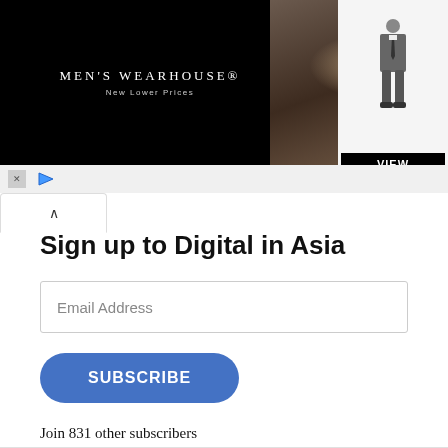[Figure (screenshot): Men's Wearhouse advertisement banner showing a couple in formal wear and a man in a suit with a VIEW button]
Sign up to Digital in Asia
Email Address
SUBSCRIBE
Join 831 other subscribers